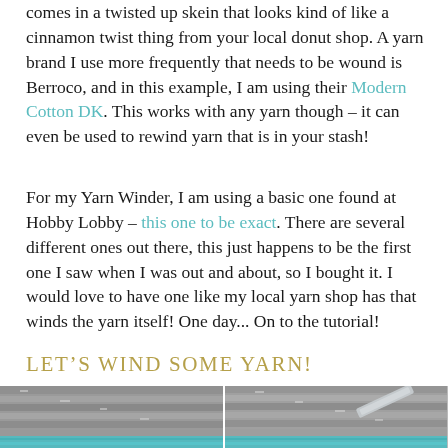comes in a twisted up skein that looks kind of like a cinnamon twist thing from your local donut shop. A yarn brand I use more frequently that needs to be wound is Berroco, and in this example, I am using their Modern Cotton DK. This works with any yarn though – it can even be used to rewind yarn that is in your stash!
For my Yarn Winder, I am using a basic one found at Hobby Lobby – this one to be exact. There are several different ones out there, this just happens to be the first one I saw when I was out and about, so I bought it. I would love to have one like my local yarn shop has that winds the yarn itself! One day... On to the tutorial!
LET'S WIND SOME YARN!
[Figure (photo): Two side-by-side photos of yarn being wound, showing crochet/knit texture with blue yarn and a winder tool visible in the right image.]